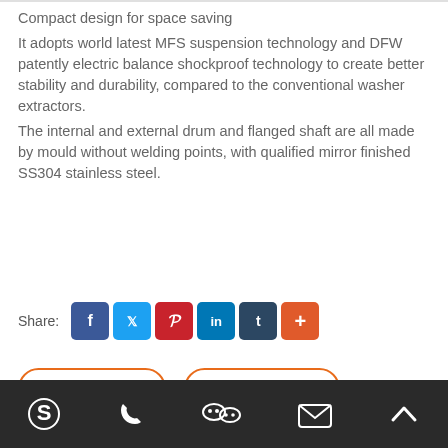Compact design for space saving
It adopts world latest MFS suspension technology and DFW patently electric balance shockproof technology to create better stability and durability, compared to the conventional washer extractors.
The internal and external drum and flanged shaft are all made by mould without welding points, with qualified mirror finished SS304 stainless steel.
Share: [Facebook] [Twitter] [Pinterest] [LinkedIn] [Tumblr] [More]
Inquire Now | Next Product
[Figure (other): Input/search box with orange border]
Skype | Phone | WeChat | Email | Top